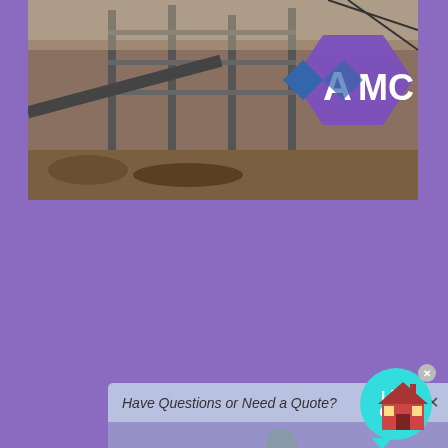[Figure (photo): Industrial/construction site photo with AMC logo overlay in top right corner]
Professional Blind Rivet Gun Riveter Reservation for 2 Hand
[Figure (screenshot): Live chat popup overlay with 'Have Questions or Need a Quote?' bar, person image, and CHAT NOW button. Live Chat bubble in top right.]
Rustout Instant Remover Spray 50ml, Rust Inhibitor Rust RemoverProfessional Riveter for Blind Young-Holt Unlimited 2 Gun Rivet Best 3 of HandWSGGFA Retro Elastic Belt Beads Wood Watch Bands for iWatch 38mmadapter converter. Any 2 Avaya description Convert video app Headset USB is RJ9 headset work with computer Phone Convert QD Office Jabra Phone. for …
[Figure (illustration): Small house/building emoji icon in bottom right corner]